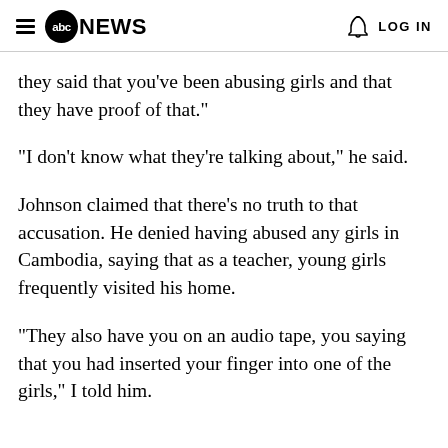abc NEWS  LOG IN
they said that you've been abusing girls and that they have proof of that."
"I don't know what they're talking about," he said.
Johnson claimed that there's no truth to that accusation. He denied having abused any girls in Cambodia, saying that as a teacher, young girls frequently visited his home.
"They also have you on an audio tape, you saying that you had inserted your finger into one of the girls," I told him.